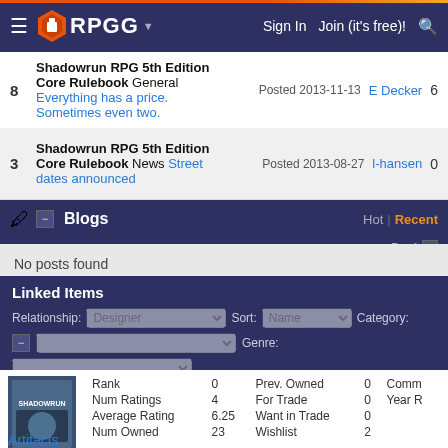RPGG | Sign In | Join (it's free)!
8 | Shadowrun RPG 5th Edition Core Rulebook General | Everything has a price. Sometimes even two. | Posted 2013-11-13 | E Decker | 6
3 | Shadowrun RPG 5th Edition Core Rulebook News | Street dates announced | Posted 2013-08-27 | l-hansen | 0
Blogs | Hot | Recent | Pg. 1
No posts found
Linked Items
Relationship: Designer | Sort: Name | Category:
Genre:
| Rank |  | Prev. Owned |  | Comm |
| --- | --- | --- | --- | --- |
| Rank | 0 | Prev. Owned | 0 | Comm |
| Num Ratings | 4 | For Trade | 0 | Year R |
| Average Rating | 6.25 | Want in Trade | 0 |  |
| Num Owned | 23 | Wishlist | 2 |  |
Artifacts